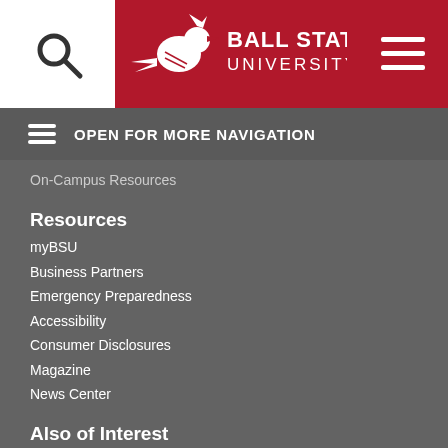[Figure (logo): Ball State University logo with cardinal bird and text BALL STATE UNIVERSITY]
OPEN FOR MORE NAVIGATION
On-Campus Resources
Resources
myBSU
Business Partners
Emergency Preparedness
Accessibility
Consumer Disclosures
Magazine
News Center
Also of Interest
Business Analytics Major
Master's Degree in Data Science
Data Analytics Major